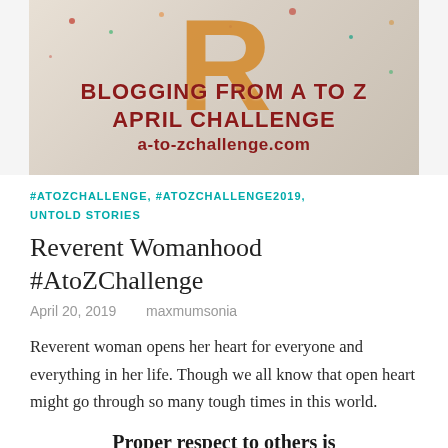[Figure (illustration): Blog banner for A to Z Challenge showing a large orange letter R on a speckled/watercolor background with text 'BLOGGING FROM A TO Z APRIL CHALLENGE a-to-zchallenge.com' in dark red.]
#ATOZCHALLENGE, #ATOZCHALLENGE2019, UNTOLD STORIES
Reverent Womanhood #AtoZChallenge
April 20, 2019    maxmumsonia
Reverent woman opens her heart for everyone and everything in her life. Though we all know that open heart might go through so many tough times in this world.
Proper respect to others is